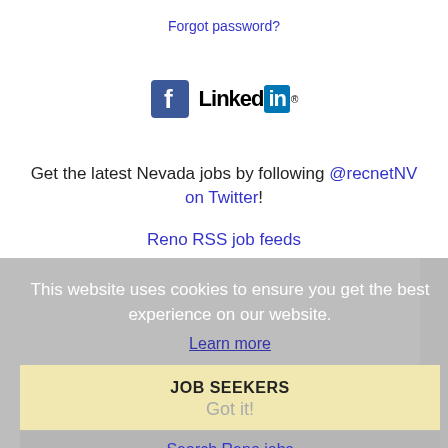Forgot password?
[Figure (logo): Facebook and LinkedIn social media logos side by side]
Get the latest Nevada jobs by following @recnetNV on Twitter!
Reno RSS job feeds
This website uses cookies to ensure you get the best experience on our website.
Learn more
JOB SEEKERS
Got it!
Search Reno jobs
Post your resume
Email job alerts